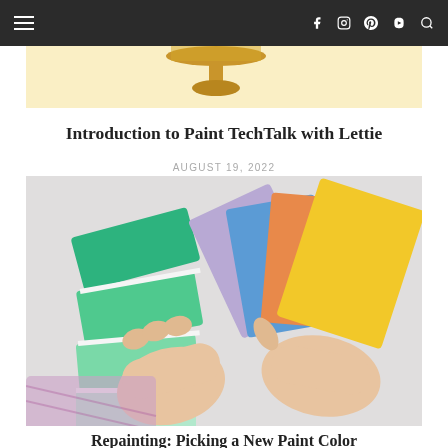Navigation bar with hamburger menu and social icons (Facebook, Instagram, Pinterest, YouTube, Search)
[Figure (photo): Partial top photo showing a golden lamp on a cream/light yellow background]
Introduction to Paint TechTalk with Lettie
AUGUST 19, 2022
[Figure (photo): Two hands holding and pointing at colorful paint swatch cards — green shades on one fan, and blue, orange, yellow swatches on another. Shot on a white background.]
Repainting: Picking a New Paint Color